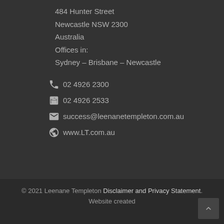484 Hunter Street
Newcastle NSW 2300
Australia
Offices in:
Sydney – Brisbane – Newcastle
02 4926 2300
02 4926 2533
success@leenanetempleton.com.au
www.LT.com.au
© 2021 Leenane Templeton Disclaimer and Privacy Statement. Website created